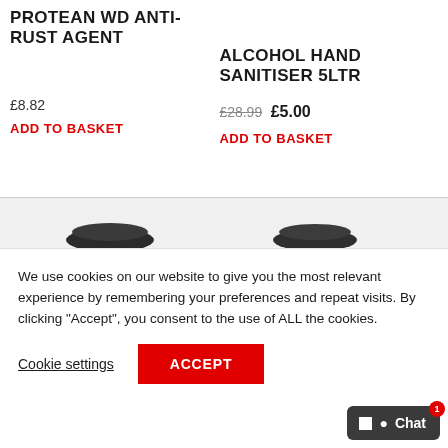PROTEAN WD ANTI-RUST AGENT
£8.82
ADD TO BASKET
ALCOHOL HAND SANITISER 5LTR
£28.99 £5.00
ADD TO BASKET
[Figure (screenshot): Two product bottle images visible at bottom of product listing area]
We use cookies on our website to give you the most relevant experience by remembering your preferences and repeat visits. By clicking “Accept”, you consent to the use of ALL the cookies.
Cookie settings
ACCEPT
Chat